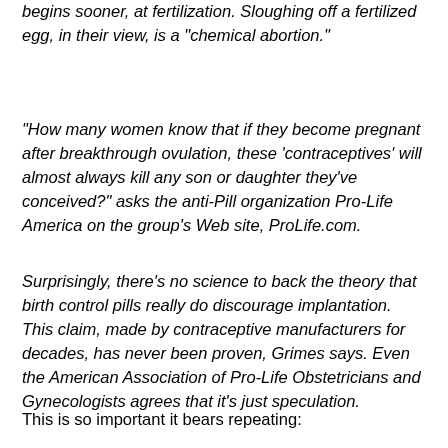begins sooner, at fertilization. Sloughing off a fertilized egg, in their view, is a "chemical abortion."
"How many women know that if they become pregnant after breakthrough ovulation, these 'contraceptives' will almost always kill any son or daughter they've conceived?" asks the anti-Pill organization Pro-Life America on the group's Web site, ProLife.com.
Surprisingly, there's no science to back the theory that birth control pills really do discourage implantation. This claim, made by contraceptive manufacturers for decades, has never been proven, Grimes says. Even the American Association of Pro-Life Obstetricians and Gynecologists agrees that it's just speculation.
This is so important it bears repeating: